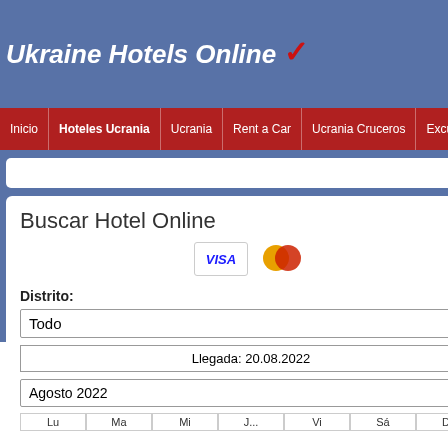Ukraine Hotels Online ✓
Inicio
Hoteles Ucrania
Ucrania
Rent a Car
Ucrania Cruceros
Excursiones
Buscar Hotel Online
Distrito:
Todo
Llegada: 20.08.2022
Agosto 2022
2* Kozatsky Hotel
Inicio - Ucrania - Kiev - Kiev Hoteles - 2* Kozats...
2* Hotel Kozatsky, Kie...